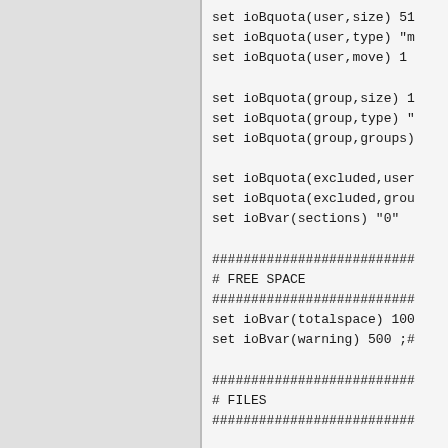set ioBquota(user,size) 51
set ioBquota(user,type) "m
set ioBquota(user,move) 1

set ioBquota(group,size) 1
set ioBquota(group,type) "
set ioBquota(group,groups)

set ioBquota(excluded,user
set ioBquota(excluded,grou
set iBvar(sections) "0"

##########################
# FREE SPACE
##########################
set ioBvar(totalspace) 100
set ioBvar(warning) 500 ;#

##########################
# FILES
##########################